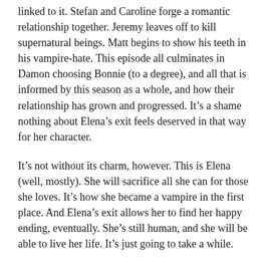linked to it. Stefan and Caroline forge a romantic relationship together. Jeremy leaves off to kill supernatural beings. Matt begins to show his teeth in his vampire-hate. This episode all culminates in Damon choosing Bonnie (to a degree), and all that is informed by this season as a whole, and how their relationship has grown and progressed. It’s a shame nothing about Elena’s exit feels deserved in that way for her character.
It’s not without its charm, however. This is Elena (well, mostly). She will sacrifice all she can for those she loves. It’s how she became a vampire in the first place. And Elena’s exit allows her to find her happy ending, eventually. She’s still human, and she will be able to live her life. It’s just going to take a while.